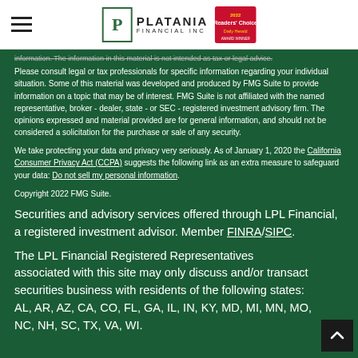Platania Financial Inc — navigation header with hamburger menu and logo
information. The information in this material is not intended as tax or legal advice. Please consult legal or tax professionals for specific information regarding your individual situation. Some of this material was developed and produced by FMG Suite to provide information on a topic that may be of interest. FMG Suite is not affiliated with the named representative, broker - dealer, state - or SEC - registered investment advisory firm. The opinions expressed and material provided are for general information, and should not be considered a solicitation for the purchase or sale of any security.
We take protecting your data and privacy very seriously. As of January 1, 2020 the California Consumer Privacy Act (CCPA) suggests the following link as an extra measure to safeguard your data: Do not sell my personal information.
Copyright 2022 FMG Suite.
Securities and advisory services offered through LPL Financial, a registered investment advisor. Member FINRA/SIPC.
The LPL Financial Registered Representatives associated with this site may only discuss and/or transact securities business with residents of the following states: AL, AR, AZ, CA, CO, FL, GA, IL, IN, KY, MD, MI, MN, MO, NC, NH, SC, TX, VA, WI.